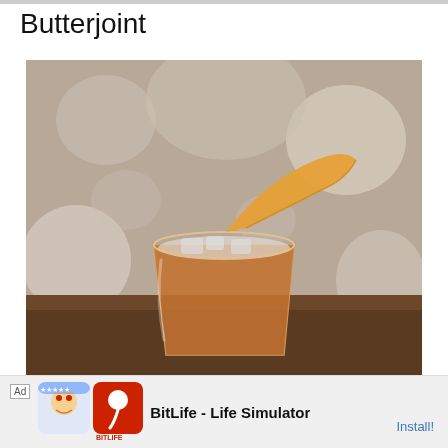Butterjoint
[Figure (photo): A cocktail glass with an amber/brown drink on ice, garnished with an orange citrus peel twist, set against a blurred bokeh background with warm metallic tones. The glass sits on a wooden surface.]
[Figure (screenshot): Advertisement banner for BitLife - Life Simulator app. Shows 'Ad' label, app icon with cartoon character and BitLife logo, app name 'BitLife - Life Simulator', and 'Install!' call-to-action link in blue.]